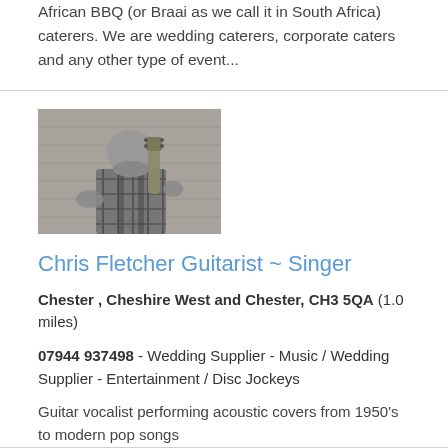African BBQ (or Braai as we call it in South Africa) caterers. We are wedding caterers, corporate caters and any other type of event...
[Figure (photo): Black and white photo of a man with a beard holding a guitar, wearing a plaid shirt, standing in front of a wooden fence background.]
Chris Fletcher Guitarist ~ Singer
Chester , Cheshire West and Chester, CH3 5QA (1.0 miles)
07944 937498 - Wedding Supplier - Music / Wedding Supplier - Entertainment / Disc Jockeys
Guitar vocalist performing acoustic covers from 1950's to modern pop songs